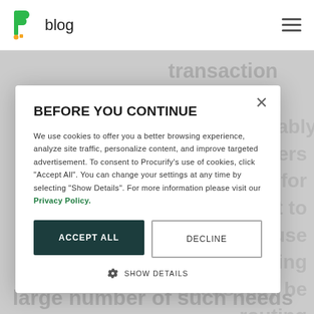Procurify blog
transaction with your company.
understandably, mers PO for they want to because buying needs may be routine, sensitive and urgent. With an ent solution like Procurify, your vendor can consolidate a large number of such needs
BEFORE YOU CONTINUE
We use cookies to offer you a better browsing experience, analyze site traffic, personalize content, and improve targeted advertisement. To consent to Procurify's use of cookies, click "Accept All". You can change your settings at any time by selecting "Show Details". For more information please visit our Privacy Policy.
ACCEPT ALL
DECLINE
SHOW DETAILS